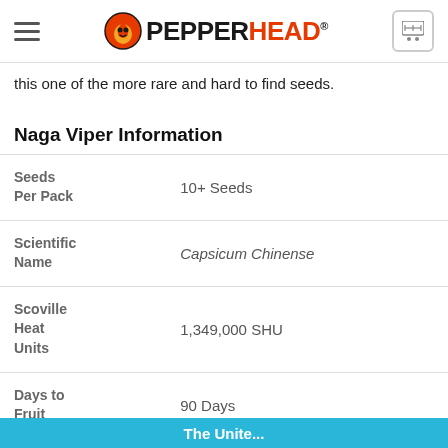PEPPERHEAD®
this one of the more rare and hard to find seeds.
Naga Viper Information
| Attribute | Value |
| --- | --- |
| Seeds Per Pack | 10+ Seeds |
| Scientific Name | Capsicum Chinense |
| Scoville Heat Units | 1,349,000 SHU |
| Days to Fruit | 90 Days |